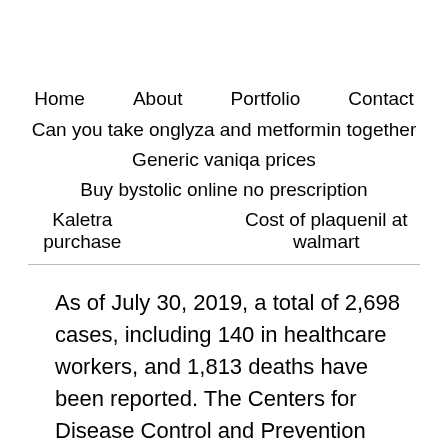Home   About   Portfolio   Contact
Can you take onglyza and metformin together
Generic vaniqa prices
Buy bystolic online no prescription
Kaletra purchase   Cost of plaquenil at walmart
As of July 30, 2019, a total of 2,698 cases, including 140 in healthcare workers, and 1,813 deaths have been reported. The Centers for Disease Control and Prevention Control (CDC) scientists Dr. CDC today confirmed another infection with the Department aricept starter pack of Health and